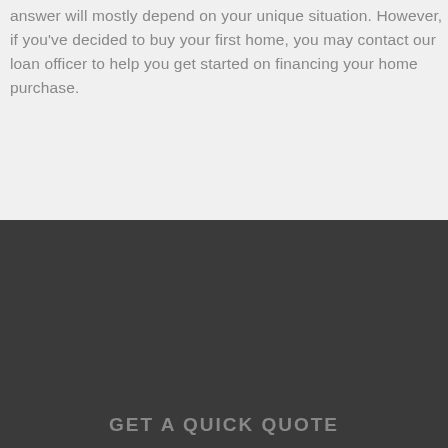answer will mostly depend on your unique situation. However, if you've decided to buy your first home, you may contact our loan officer to help you get started on financing your home purchase.
* Specific loan program availability and requirements may vary. Please get in touch with the mortgage advisor for more
This site uses cookies to process your loan application and other features. You may elect not to accept cookies which will keep you from submitting a loan application. By your clicked consent/acceptance you acknowledge and allow the use of cookies. By clicking I Accept you acknowledge you have read and understand Diane Luongo- Gazich's Privacy Policy.
GET A QUICK QUOTE